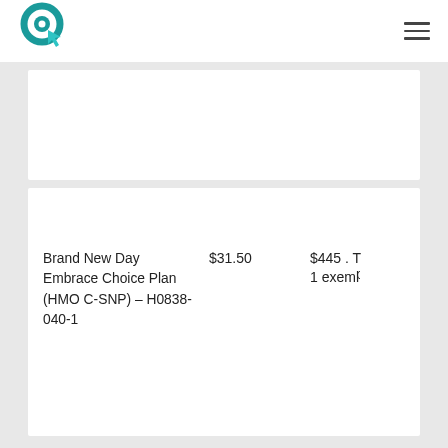[Figure (logo): Teal circular logo with cursor arrow icon]
| Plan Name | Premium | MOOP |
| --- | --- | --- |
| Brand New Day Embrace Choice Plan (HMO C-SNP) – H0838-040-1 | $31.50 | $445 . T 1 exemp |